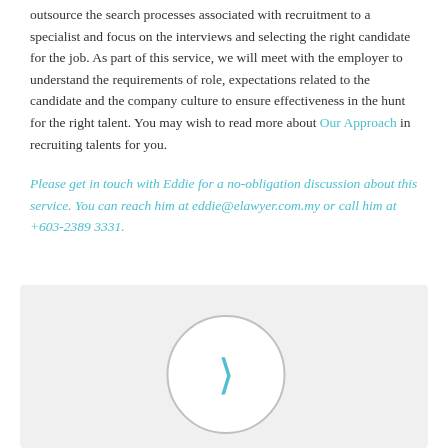outsource the search processes associated with recruitment to a specialist and focus on the interviews and selecting the right candidate for the job. As part of this service, we will meet with the employer to understand the requirements of role, expectations related to the candidate and the company culture to ensure effectiveness in the hunt for the right talent. You may wish to read more about Our Approach in recruiting talents for you.
Please get in touch with Eddie for a no-obligation discussion about this service. You can reach him at eddie@elawyer.com.my or call him at +603-2389 3331.
[Figure (other): A circle with a bracket symbol inside, displayed on a light grey background section]